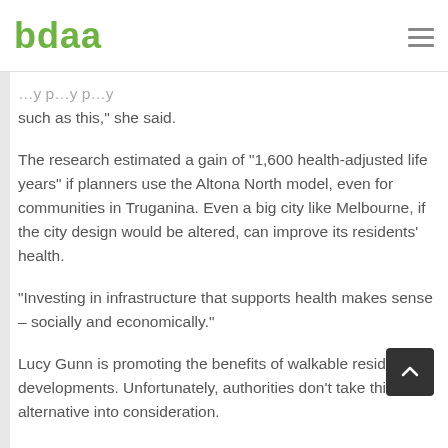bdaa
such as this," she said.
The research estimated a gain of "1,600 health-adjusted life years" if planners use the Altona North model, even for communities in Truganina. Even a big city like Melbourne, if the city design would be altered, can improve its residents' health.
“Investing in infrastructure that supports health makes sense – socially and economically.”
Lucy Gunn is promoting the benefits of walkable residential developments. Unfortunately, authorities don’t take this alternative into consideration.
“Our research could be applied to major infrastructure projects where the economic and health benefits could